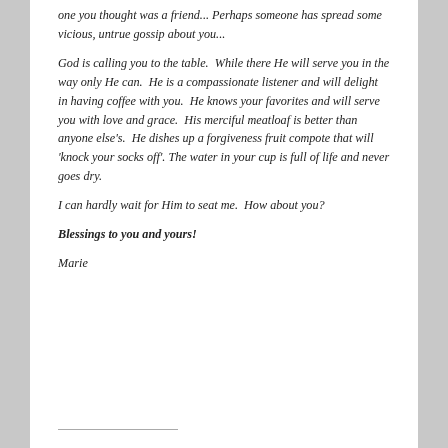one you thought was a friend... Perhaps someone has spread some vicious, untrue gossip about you...
God is calling you to the table.  While there He will serve you in the way only He can.  He is a compassionate listener and will delight in having coffee with you.  He knows your favorites and will serve you with love and grace.  His merciful meatloaf is better than anyone else's.  He dishes up a forgiveness fruit compote that will 'knock your socks off'. The water in your cup is full of life and never goes dry.
I can hardly wait for Him to seat me.  How about you?
Blessings to you and yours!
Marie